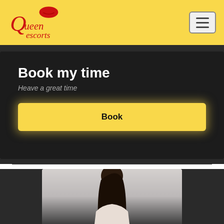[Figure (logo): Queen Escorts logo in red cursive script with a red lips icon, on yellow background]
[Figure (other): Hamburger menu icon button in top right corner]
Book my time
Heave a great time
Book
[Figure (photo): Photo of a woman with dark hair, partially visible at the bottom of the page]